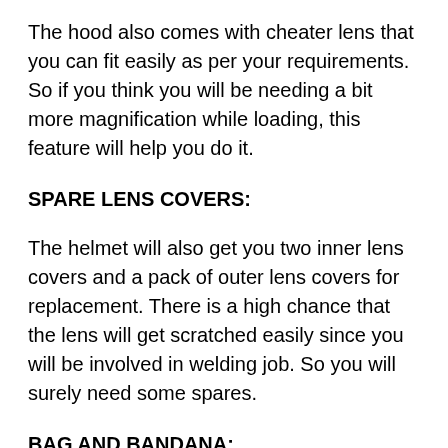The hood also comes with cheater lens that you can fit easily as per your requirements. So if you think you will be needing a bit more magnification while loading, this feature will help you do it.
SPARE LENS COVERS:
The helmet will also get you two inner lens covers and a pack of outer lens covers for replacement. There is a high chance that the lens will get scratched easily since you will be involved in welding job. So you will surely need some spares.
BAG AND BANDANA: